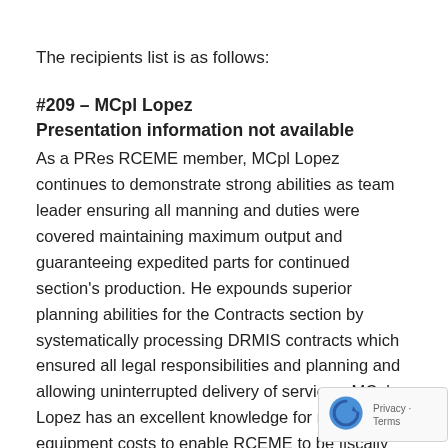The recipients list is as follows:
#209 – MCpl Lopez
Presentation information not available
As a PRes RCEME member, MCpl Lopez continues to demonstrate strong abilities as team leader ensuring all manning and duties were covered maintaining maximum output and guaranteeing expedited parts for continued section's production. He expounds superior planning abilities for the Contracts section by systematically processing DRMIS contracts which ensured all legal responsibilities and planning and allowing uninterrupted delivery of services. MCpl Lopez has an excellent knowledge for repair and equipment costs to enable RCEME to be fiscally responsible to the Wing and CAF. He encourages the section in daily tasks to work cooperatively and guide subordinates to perform best of their abilities, increasing team wor... is an enthusiastic leader who displays outstanding